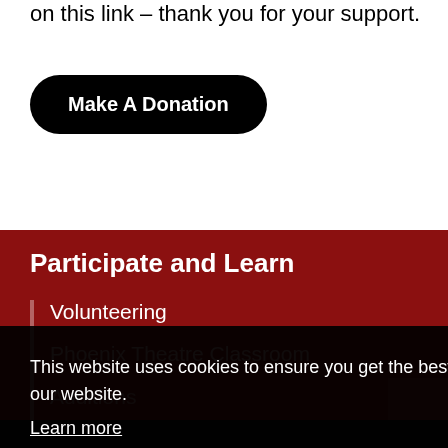on this link – thank you for your support.
Make A Donation
Participate and Learn
Volunteering
Phoenix Theatre Classroom
Auditions
This website uses cookies to ensure you get the best experience on our website.
Learn more
Got it!